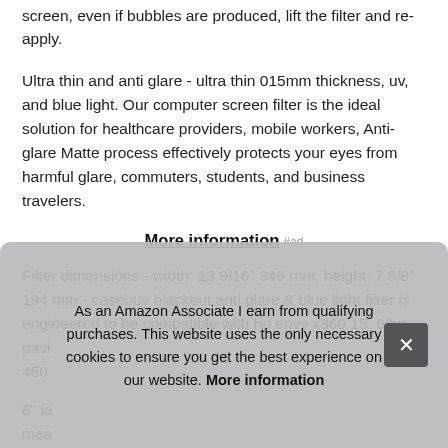screen, even if bubbles are produced, lift the filter and re-apply.
Ultra thin and anti glare - ultra thin 015mm thickness, uv, and blue light. Our computer screen filter is the ideal solution for healthcare providers, mobile workers, Anti-glare Matte process effectively protects your eyes from harmful glare, commuters, students, and business travelers.
More information #ad
Filter dimensions - width: 13 9/16" 345 mm, height: 7 5/8" 194 mm - casebuy blackout anti glare & blue light filter is engineered to be compatible with hp envy x360 15. 6/hp pavi 450
6" la mea
As an Amazon Associate I earn from qualifying purchases. This website uses the only necessary cookies to ensure you get the best experience on our website. More information